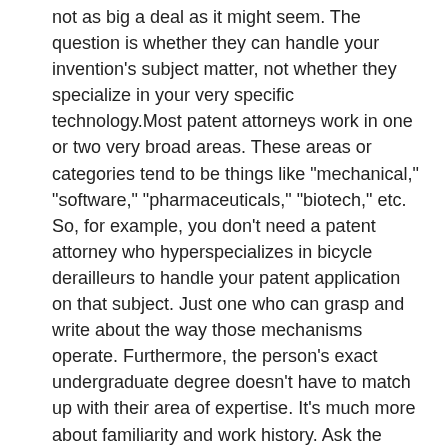not as big a deal as it might seem. The question is whether they can handle your invention's subject matter, not whether they specialize in your very specific technology.Most patent attorneys work in one or two very broad areas. These areas or categories tend to be things like "mechanical," "software," "pharmaceuticals," "biotech," etc. So, for example, you don't need a patent attorney who hyperspecializes in bicycle derailleurs to handle your patent application on that subject. Just one who can grasp and write about the way those mechanisms operate. Furthermore, the person's exact undergraduate degree doesn't have to match up with their area of expertise. It's much more about familiarity and work history. Ask the prospective patent lawyer whether they've handled patents in your product's technology area (or a related one) before. It's usually pretty straightforward.
Price. You should expect to pay for your patent attorney's services. That being said, aside from the extremes, price shouldn't be too much of a factor in distinguishing your choice of attorney